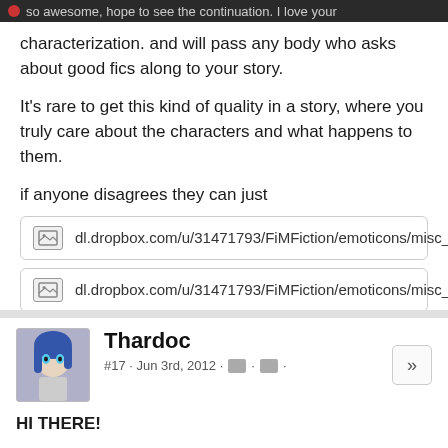so awesome, hope to see the continuation. I love your characterization. and will pass any body who asks about good fics along to your story.
It's rare to get this kind of quality in a story, where you truly care about the characters and what happens to them.
if anyone disagrees they can just
[Figure (screenshot): Image link placeholder: dl.dropbox.com/u/31471793/FiMFiction/emoticons/misc_...]
[Figure (screenshot): Image link placeholder: dl.dropbox.com/u/31471793/FiMFiction/emoticons/misc_...]
[Figure (screenshot): Image link placeholder: dl.dropbox.com/u/31471793/FiMFiction/emoticons/misc_...]
deal with it.
Thardoc
#17 · Jun 3rd, 2012
HI THERE!
why you write so slow? finals are over and this is awesome!
no excuses mister!